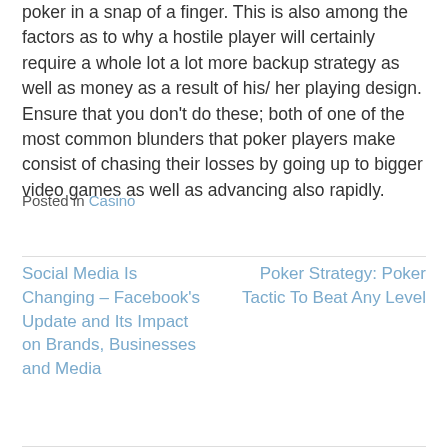poker in a snap of a finger. This is also among the factors as to why a hostile player will certainly require a whole lot a lot more backup strategy as well as money as a result of his/ her playing design. Ensure that you don't do these; both of one of the most common blunders that poker players make consist of chasing their losses by going up to bigger video games as well as advancing also rapidly.
Posted in Casino
Social Media Is Changing – Facebook's Update and Its Impact on Brands, Businesses and Media
Poker Strategy: Poker Tactic To Beat Any Level